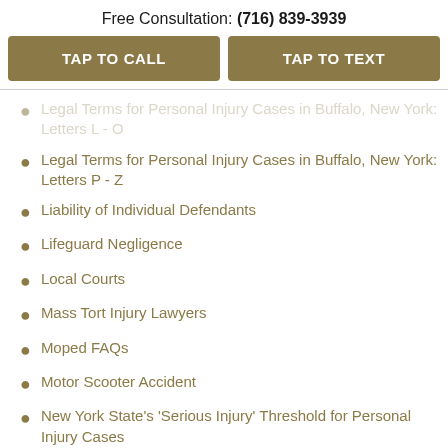Free Consultation: (716) 839-3939
TAP TO CALL
TAP TO TEXT
Legal Terms for Personal Injury Cases in Buffalo, New York: Letters L - O
Legal Terms for Personal Injury Cases in Buffalo, New York: Letters P - Z
Liability of Individual Defendants
Lifeguard Negligence
Local Courts
Mass Tort Injury Lawyers
Moped FAQs
Motor Scooter Accident
New York State's 'Serious Injury' Threshold for Personal Injury Cases